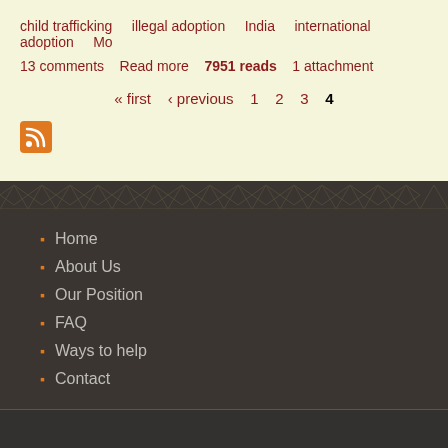child trafficking   illegal adoption   India   international adoption   Mo
13 comments   Read more   7951 reads   1 attachment
« first  ‹ previous  1  2  3  4
[Figure (other): RSS feed icon - orange square with white RSS symbol]
[Figure (other): Decorative dark border strip with repeating geometric pattern]
Home
About Us
Our Position
FAQ
Ways to help
Contact
Pound Pup Legacy